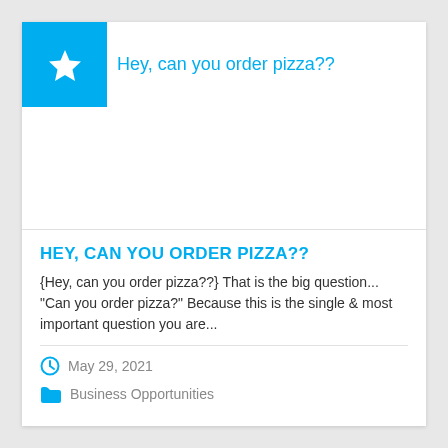Hey, can you order pizza??
HEY, CAN YOU ORDER PIZZA??
{Hey, can you order pizza??} That is the big question... "Can you order pizza?" Because this is the single & most important question you are...
May 29, 2021
Business Opportunities